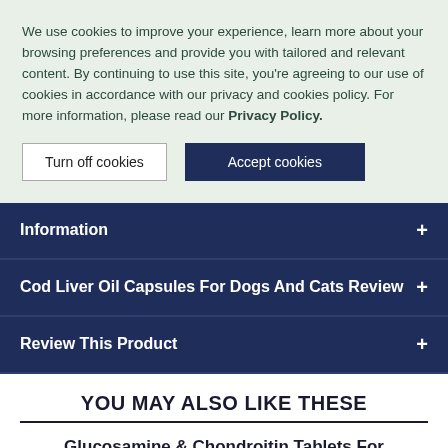We use cookies to improve your experience, learn more about your browsing preferences and provide you with tailored and relevant content. By continuing to use this site, you're agreeing to our use of cookies in accordance with our privacy and cookies policy. For more information, please read our Privacy Policy.
Turn off cookies
Accept cookies
Information +
Cod Liver Oil Capsules For Dogs And Cats Reviews +
Review This Product +
YOU MAY ALSO LIKE THESE
Glucosamine & Chondroitin Tablets For Dogs And Cats